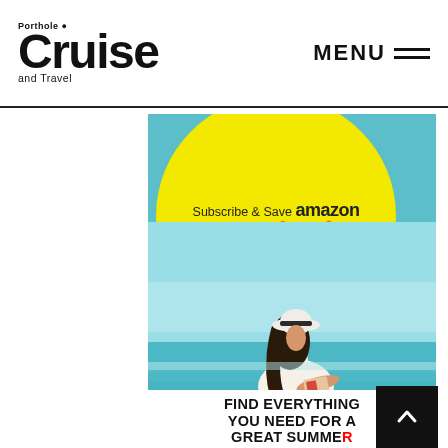Porthole Cruise and Travel — MENU
[Figure (illustration): Advertisement for Porthole Cruise and Travel magazine on Amazon. Shows a yellow circle with 'Subscribe & Save amazon Shop Now!' text, over a beach photo of a woman in white outfit and hat reading a book at the water's edge with turquoise ocean behind her. Bottom text reads 'FIND EVERYTHING YOU NEED FOR A GREAT SUMMER'.]